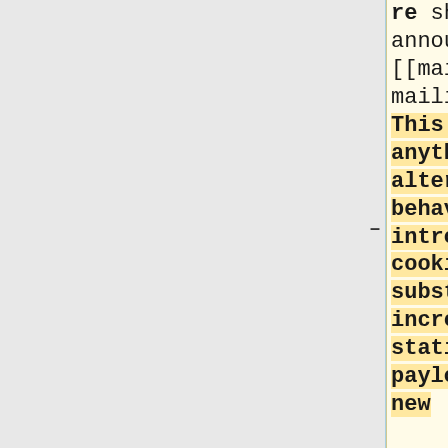re should be announced on the [[mail:ops|ops mailing list]]. This includes anything that alters caching behavior, introduces cookies, substantially increases the static asset payload, or adds new